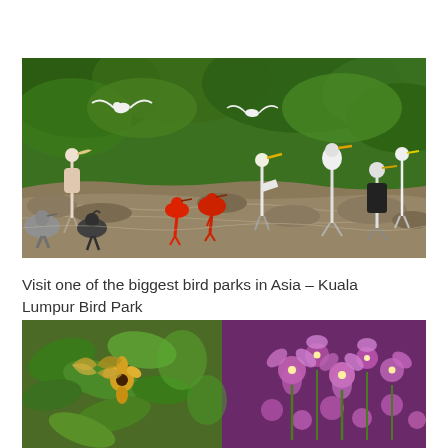[Figure (photo): A flock of various birds including ibises, storks, herons, and other wading birds standing in and around a shallow stream surrounded by lush tropical greenery and rocks at Kuala Lumpur Bird Park.]
Visit one of the biggest bird parks in Asia – Kuala Lumpur Bird Park
[Figure (photo): Close-up photo of colorful tropical flowers and plants, including what appears to be orchids with purple/pink blooms and other botanical specimens.]